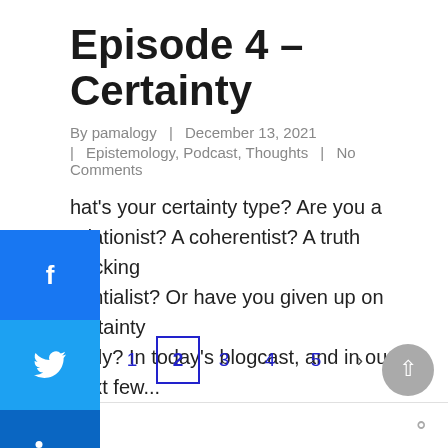Episode 4 – Certainty
By pamalogy | December 13, 2021 | Epistemology, Podcast, Thoughts | No Comments
hat's your certainty type? Are you a ndationist? A coherentist? A truth tracking dentialist? Or have you given up on certainty tirely? In today's blogcast, and in our next few...
ad More
< 1 2 3 4 5 >